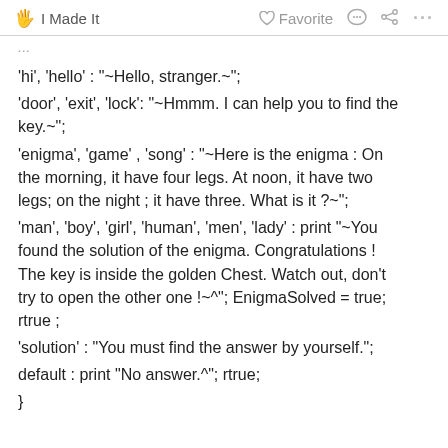I Made It   Favorite   ...
'hi', 'hello' : "~Hello, stranger.~";
'door', 'exit', 'lock': "~Hmmm. I can help you to find the key.~";
'enigma', 'game' , 'song' : "~Here is the enigma : On the morning, it have four legs. At noon, it have two legs; on the night ; it have three. What is it ?~";
'man', 'boy', 'girl', 'human', 'men', 'lady' : print "~You found the solution of the enigma. Congratulations ! The key is inside the golden Chest. Watch out, don't try to open the other one !~^"; EnigmaSolved = true; rtrue ;
'solution' : "You must find the answer by yourself.";
default : print "No answer.^"; rtrue;
}